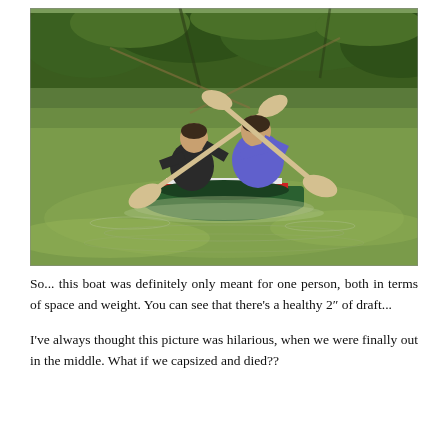[Figure (photo): Two young men paddling a small, overloaded boat (canoe/kayak) on a green river, viewed from behind. Each holds a paddle with crossed oars visible. The boat is painted green, white, and red, and sits very low in the water. Trees and green foliage visible in the background.]
So... this boat was definitely only meant for one person, both in terms of space and weight. You can see that there's a healthy 2″ of draft...
I've always thought this picture was hilarious, when we were finally out in the middle. What if we capsized and died??